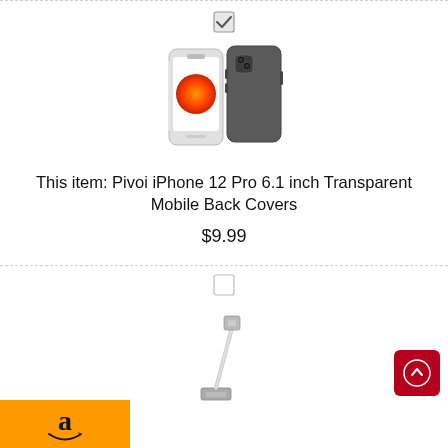[Figure (photo): Checked checkbox icon]
[Figure (photo): Pivoi iPhone 12 Pro transparent mobile back cover product image showing front and back views]
This item: Pivoi iPhone 12 Pro 6.1 inch Transparent Mobile Back Covers
$9.99
[Figure (photo): Unchecked checkbox icon]
[Figure (photo): Lightning USB cable product image]
[Figure (logo): Amazon logo on orange background with smile arrow]
[Figure (other): Red scroll-to-top button with upward arrow]